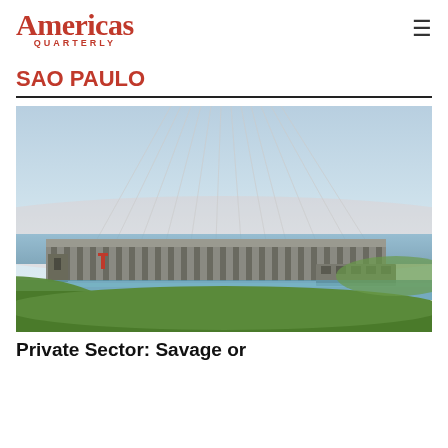Americas Quarterly
SAO PAULO
[Figure (photo): Aerial/wide-angle photograph of the Itaipu hydroelectric dam on the Parana River, showing the massive concrete dam structure with power transmission lines radiating from the top, green hillside in the foreground and water below.]
Private Sector: Savage or